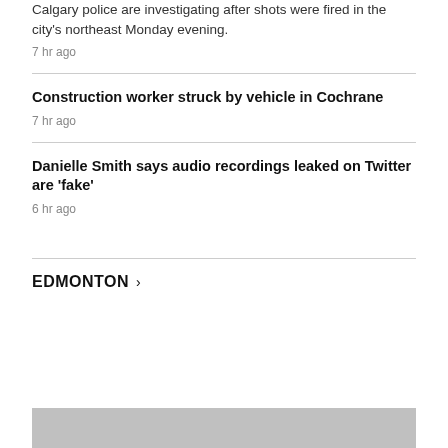Calgary police are investigating after shots were fired in the city's northeast Monday evening.
7 hr ago
Construction worker struck by vehicle in Cochrane
7 hr ago
Danielle Smith says audio recordings leaked on Twitter are 'fake'
6 hr ago
EDMONTON >
[Figure (photo): Gray image placeholder at bottom of page]